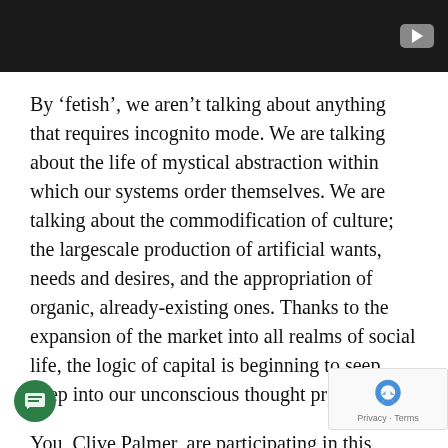[Figure (screenshot): Dark video player banner with YouTube play button in the top right corner]
By ‘fetish’, we aren’t talking about anything that requires incognito mode. We are talking about the life of mystical abstraction within which our systems order themselves. We are talking about the commodification of culture; the largescale production of artificial wants, needs and desires, and the appropriation of organic, already-existing ones. Thanks to the expansion of the market into all realms of social life, the logic of capital is beginning to seep deep into our unconscious thought processes.
You, Clive Palmer, are participating in this fetish phenomenon with your giant, obnoxious billboards – however unconsciously – because have an active interest to increase your social